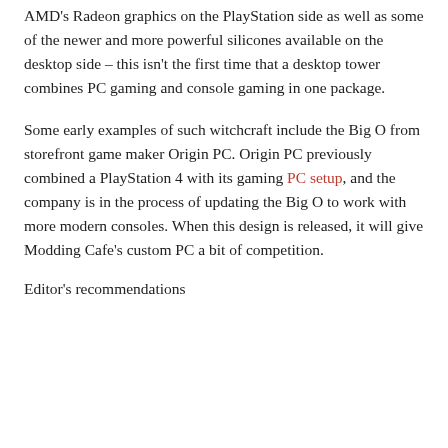AMD's Radeon graphics on the PlayStation side as well as some of the newer and more powerful silicones available on the desktop side – this isn't the first time that a desktop tower combines PC gaming and console gaming in one package.
Some early examples of such witchcraft include the Big O from storefront game maker Origin PC. Origin PC previously combined a PlayStation 4 with its gaming PC setup, and the company is in the process of updating the Big O to work with more modern consoles. When this design is released, it will give Modding Cafe's custom PC a bit of competition.
Editor's recommendations